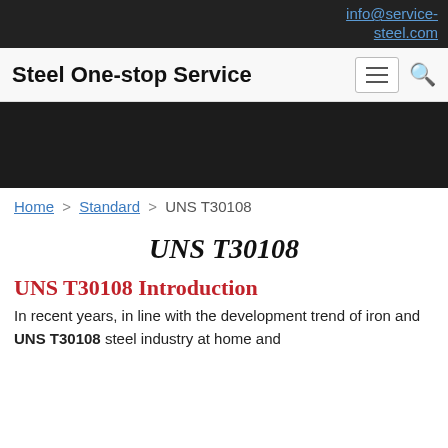info@service-steel.com
Steel One-stop Service
[Figure (other): Dark hero image banner area]
Home > Standard > UNS T30108
UNS T30108
UNS T30108 Introduction
In recent years, in line with the development trend of iron and UNS T30108 steel industry at home and